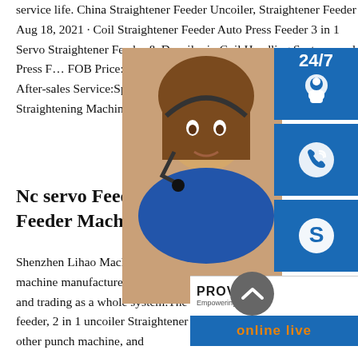service life. China Straightener Feeder Uncoiler, Straightener Feeder Aug 18, 2021 · Coil Straightener Feeder Auto Press Feeder 3 in 1 Servo Straightener Feeder & Decoiler in Coil Handling Systems and Press F… FOB Price:US $ 50000-125000 / Piec… Order:1 Piece. After-sales Service:Spa… After Sale Service. Type:Balance Roll… Straightening Machine.
[Figure (screenshot): Customer service widget overlay showing a woman with headset, 24/7 badge, phone icon, Skype icon, PROVIDE Empowering Customers banner, and orange online live button]
Nc servo Feeder & Uncoiler & Feeder Machine
Shenzhen Lihao Machine Equipment Co., Ltd. is a professional machine manufacturer, integrating design, production, sale, service and trading as a whole system.The company mainly produces 3 in 1 feeder, 2 in 1 uncoiler Straightener machine, NC servo feeder and other punch machine, and